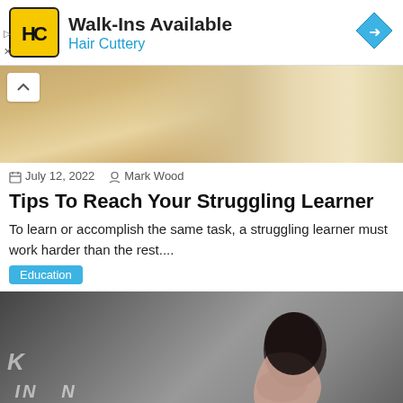[Figure (screenshot): Hair Cuttery advertisement banner with logo, 'Walk-Ins Available' headline, blue arrow navigation icon]
[Figure (photo): Blurred photo of a person lying on a wooden surface, top of article image]
July 12, 2022   Mark Wood
Tips To Reach Your Struggling Learner
To learn or accomplish the same task, a struggling learner must work harder than the rest....
Education
[Figure (photo): Woman with dark hair in profile view against grey background, with floating alphabet letters, representing learning/education concept]